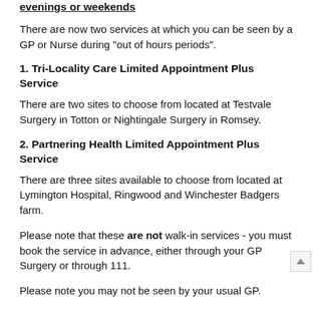evenings or weekends
There are now two services at which you can be seen by a GP or Nurse during "out of hours periods".
1. Tri-Locality Care Limited Appointment Plus Service
There are two sites to choose from located at Testvale Surgery in Totton or Nightingale Surgery in Romsey.
2. Partnering Health Limited Appointment Plus Service
There are three sites available to choose from located at Lymington Hospital, Ringwood and Winchester Badgers farm.
Please note that these are not walk-in services - you must book the service in advance, either through your GP Surgery or through 111.
Please note you may not be seen by your usual GP.